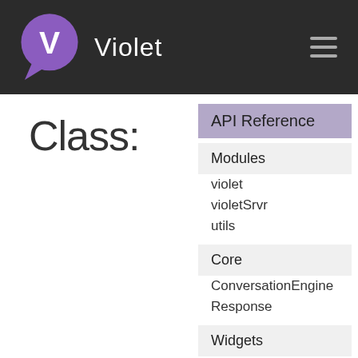Violet
Class:
API Reference
Modules
violet
violetSrvr
utils
Core
ConversationEngine
Response
Widgets